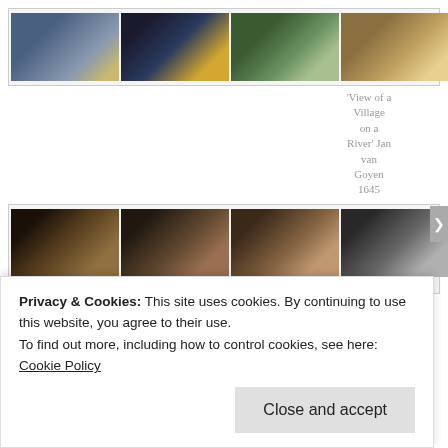[Figure (screenshot): Horizontal strip of 8 thumbnail paintings - landscape/seascape artworks in a gallery browser]
'View of a Village on a River' Jan van Goyen 1645
[Figure (screenshot): Horizontal strip of 8 thumbnail paintings - portrait/figure paintings, one expanded, in a gallery browser]
'Woman Reading a Letter' Johannes Vermeer
'The Denial of St Peter' Rembrandt van Rijn
'Still Life with Flowers on a Marble'
Privacy & Cookies: This site uses cookies. By continuing to use this website, you agree to their use.
To find out more, including how to control cookies, see here: Cookie Policy
Close and accept